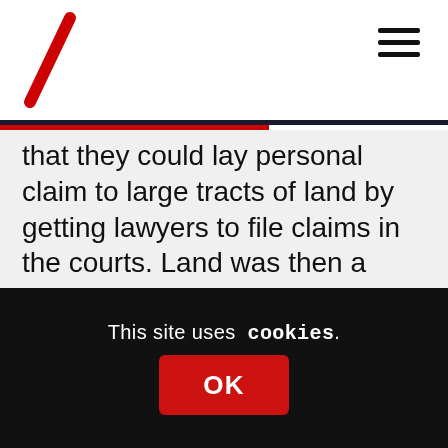[Logo mark] [Hamburger menu]
that they could lay personal claim to large tracts of land by getting lawyers to file claims in the courts. Land was then a commodity and as the slavery profits came along estates changed hands. The rights of the indiginous clansmen were diminished until the coup de grace with the coming of sheep and the clearances.
What happens now? Some small patches have gone back to the communities but in the main we have rich men's playgrounds where the land is denuded of natural trees and wildlife to shoot grouse and deer. Time we
This site uses cookies.
OK